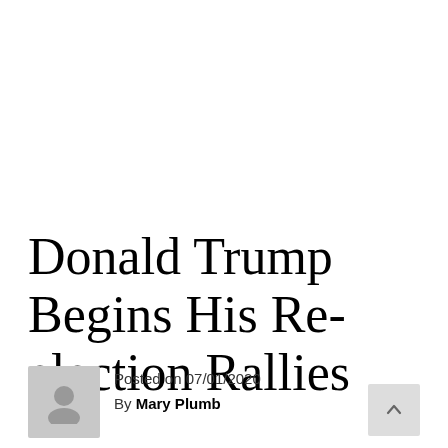Donald Trump Begins His Re-election Rallies
Posted on 07/01/2020
By Mary Plumb